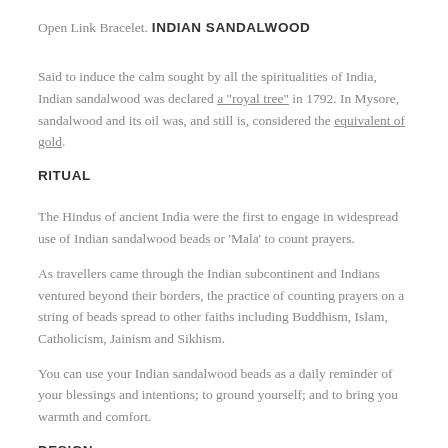Open Link Bracelet.
INDIAN SANDALWOOD
Said to induce the calm sought by all the spiritualities of India, Indian sandalwood was declared a "royal tree" in 1792. In Mysore, sandalwood and its oil was, and still is, considered the equivalent of gold.
RITUAL
The Hindus of ancient India were the first to engage in widespread use of Indian sandalwood beads or 'Mala' to count prayers.
As travellers came through the Indian subcontinent and Indians ventured beyond their borders, the practice of counting prayers on a string of beads spread to other faiths including Buddhism, Islam, Catholicism, Jainism and Sikhism.
You can use your Indian sandalwood beads as a daily reminder of your blessings and intentions; to ground yourself; and to bring you warmth and comfort.
DESIGN